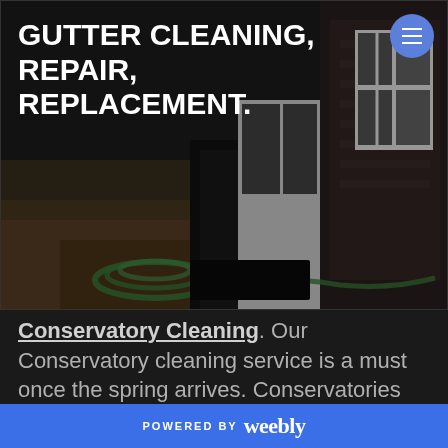[Figure (photo): Exterior photo of a house showing a garden hose coiled on dry grass near a window and door, dark/moody lighting, gutter cleaning context]
GUTTER CLEANING, REPAIR, REPLACEMENT.
Conservatory Cleaning. Our Conservatory cleaning service is a must once the spring arrives. Conservatories can get quite dirty during the winter months and to
POWERED BY weebly